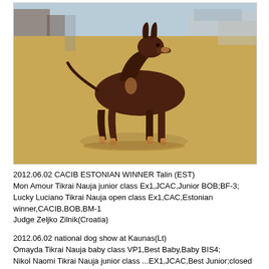[Figure (photo): A brown Doberman-type dog standing in profile on sandy/dry ground outdoors, photographed at a dog show. Background shows trees and a building.]
2012.06.02 CACIB ESTONIAN WINNER Talin (EST)
Mon Amour Tikrai Nauja junior class Ex1,JCAC,Junior BOB;BF-3;
Lucky Luciano Tikrai Nauja open class Ex1,CAC,Estonian winner,CACIB,BOB,BM-1
Judge Zeljko Zilnik(Croatia)
2012.06.02 national dog show at Kaunas(Lt)
Omayda Tikrai Nauja baby class VP1,Best Baby,Baby BIS4;
Nikol Naomi Tikrai Nauja junior class ...EX1,JCAC,Best Junior;closed LTJCH